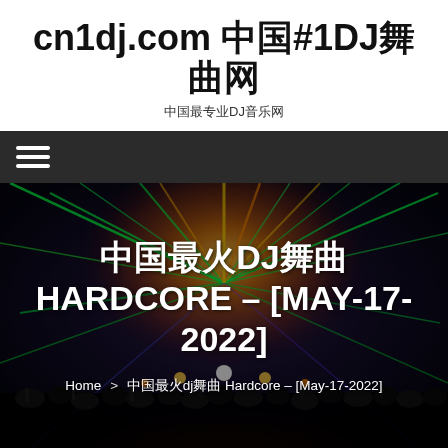cn1dj.com 中国#1DJ舞曲网
中国最专业DJ音乐网
[Figure (screenshot): Dark navigation bar with hamburger menu icon (three white horizontal lines) on dark grey background]
[Figure (photo): Concert/rave scene with colorful laser lights (green, orange, yellow) radiating from stage, crowd silhouettes in foreground, overlaid with large white bold text title and breadcrumb navigation]
中国最火DJ舞曲 HARDCORE – [MAY-17-2022]
Home > 中国最火dj舞曲 Hardcore – [May-17-2022]